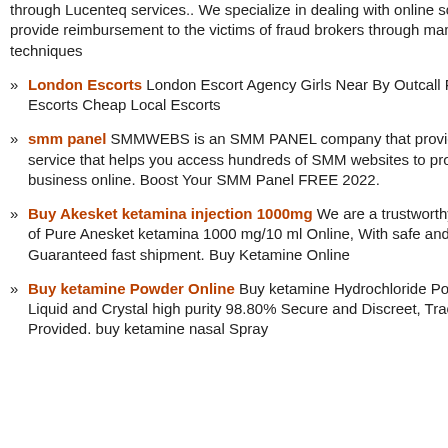through Lucenteq services.. We specialize in dealing with online scams. We provide reimbursement to the victims of fraud brokers through many techniques
» London Escorts London Escort Agency Girls Near By Outcall Female Escorts Cheap Local Escorts
» smm panel SMMWEBS is an SMM PANEL company that provides a service that helps you access hundreds of SMM websites to promote your business online. Boost Your SMM Panel FREE 2022.
» Buy Akesket ketamina injection 1000mg We are a trustworthy supplier of Pure Anesket ketamina 1000 mg/10 ml Online, With safe and Guaranteed fast shipment. Buy Ketamine Online
» Buy ketamine Powder Online Buy ketamine Hydrochloride Powder, Liquid and Crystal high purity 98.80% Secure and Discreet, Tracking # Provided. buy ketamine nasal Spray
NJ Chimney
Call Today
Get all of your chimney and firep... Repairs, Installations, Fi...
[Figure (illustration): INTACTA PROTETION logo with pink heart and cat photo, tagline: take care of who you love]
INTACTA is a Specialist in the Installatio... item to avoid serious accidents. The P... risks such as windows, balconie...
Total records: 5